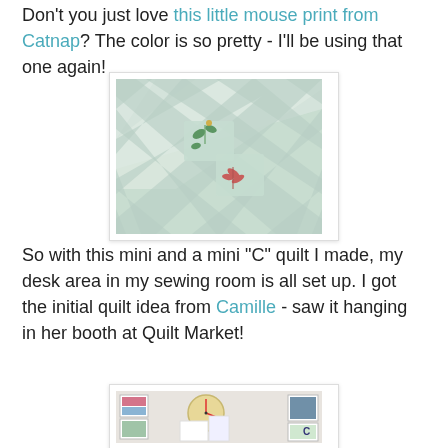Don't you just love this little mouse print from Catnap? The color is so pretty - I'll be using that one again!
[Figure (photo): Close-up photo of a quilt with a diagonal lattice pattern in mint green and white, with floral/mouse print fabric visible in the diamond openings]
So with this mini and a mini "C" quilt I made, my desk area in my sewing room is all set up. I got the initial quilt idea from Camille - saw it hanging in her booth at Quilt Market!
[Figure (photo): Photo of a sewing room desk wall area with a clock, framed quilts and artwork, and a bulletin board]